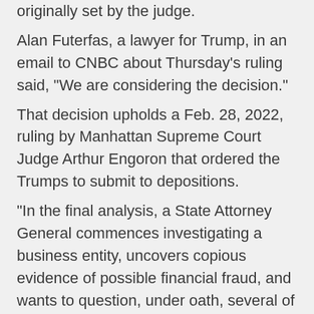originally set by the judge.
Alan Futerfas, a lawyer for Trump, in an email to CNBC about Thursday's ruling said, "We are considering the decision."
That decision upholds a Feb. 28, 2022, ruling by Manhattan Supreme Court Judge Arthur Engoron that ordered the Trumps to submit to depositions.
"In the final analysis, a State Attorney General commences investigating a business entity, uncovers copious evidence of possible financial fraud, and wants to question, under oath, several of the entities' principals, including its namesake. She has the clear right to do so," Engoron wrote at that time.
In its decision Thursday, the appeals panel said, "The existence of a criminal investigation does not preclude civil discovery of related facts."